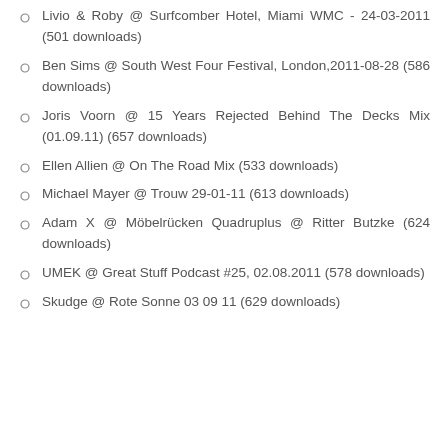Livio & Roby @ Surfcomber Hotel, Miami WMC - 24-03-2011 (501 downloads)
Ben Sims @ South West Four Festival, London,2011-08-28 (586 downloads)
Joris Voorn @ 15 Years Rejected Behind The Decks Mix (01.09.11) (657 downloads)
Ellen Allien @ On The Road Mix (533 downloads)
Michael Mayer @ Trouw 29-01-11 (613 downloads)
Adam X @ Möbelrücken Quadruplus @ Ritter Butzke (624 downloads)
UMEK @ Great Stuff Podcast #25, 02.08.2011 (578 downloads)
Skudge @ Rote Sonne 03 09 11 (629 downloads)